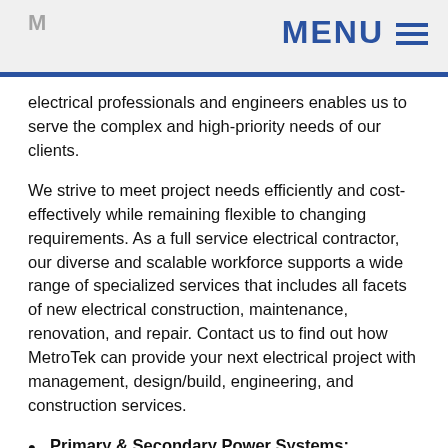MENU
electrical professionals and engineers enables us to serve the complex and high-priority needs of our clients.
We strive to meet project needs efficiently and cost-effectively while remaining flexible to changing requirements. As a full service electrical contractor, our diverse and scalable workforce supports a wide range of specialized services that includes all facets of new electrical construction, maintenance, renovation, and repair. Contact us to find out how MetroTek can provide your next electrical project with management, design/build, engineering, and construction services.
Primary & Secondary Power Systems: Complete project management including budgeting, engineering, procurement, construction and integration, resulting in a turnkey installation of your high voltage power system.
Electrical Wiring: Overhead and underground transmission and distribution work including tower